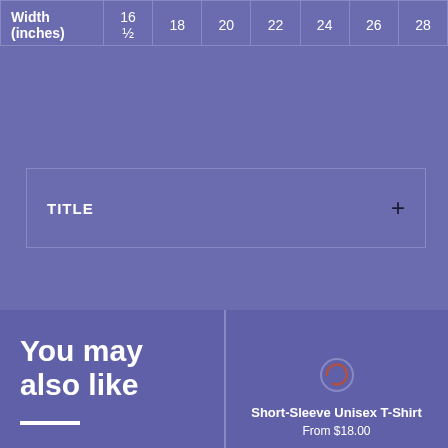| Width
(inches) | 16
½ | 18 | 20 | 22 | 24 | 26 | 28 |
| --- | --- | --- | --- | --- | --- | --- | --- |
TITLE +
You may also like
Short-Sleeve Unisex T-Shirt
From $18.00